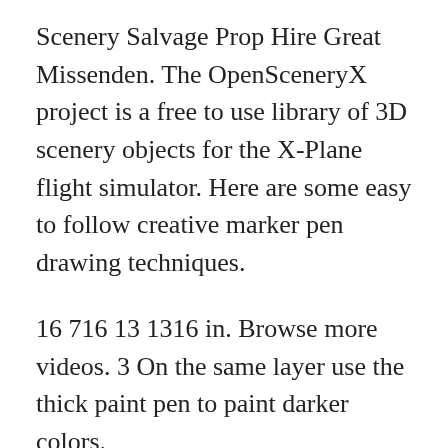Scenery Salvage Prop Hire Great Missenden. The OpenSceneryX project is a free to use library of 3D scenery objects for the X-Plane flight simulator. Here are some easy to follow creative marker pen drawing techniques.
16 716 13 1316 in. Browse more videos. 3 On the same layer use the thick paint pen to paint darker colors.
981 likes 8 talking about this. In contrast to watercolor painting avoid leaving any white parts. With pens you can achieve very tight renderings.